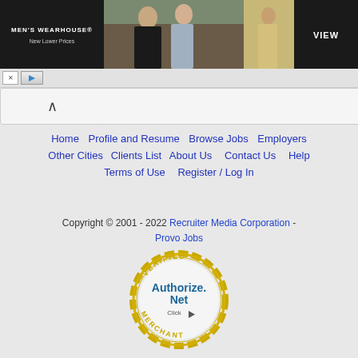[Figure (screenshot): Men's Wearhouse advertisement banner showing a couple in formal wear and a man in a tan suit with a VIEW button]
Home   Profile and Resume   Browse Jobs   Employers   Other Cities   Clients List   About Us   Contact Us   Help   Terms of Use   Register / Log In
Copyright © 2001 - 2022 Recruiter Media Corporation - Provo Jobs
[Figure (logo): Authorize.Net Verified Merchant seal/badge]